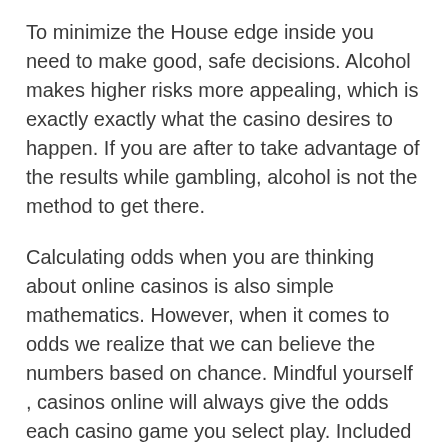To minimize the House edge inside you need to make good, safe decisions. Alcohol makes higher risks more appealing, which is exactly exactly what the casino desires to happen. If you are after to take advantage of the results while gambling, alcohol is not the method to get there.
Calculating odds when you are thinking about online casinos is also simple mathematics. However, when it comes to odds we realize that we can believe the numbers based on chance. Mindful yourself , casinos online will always give the odds each casino game you select play. Included as well in the knowledge will emerge as 'house edge' – this can be a percentage the casino site takes to make a formidable profit.